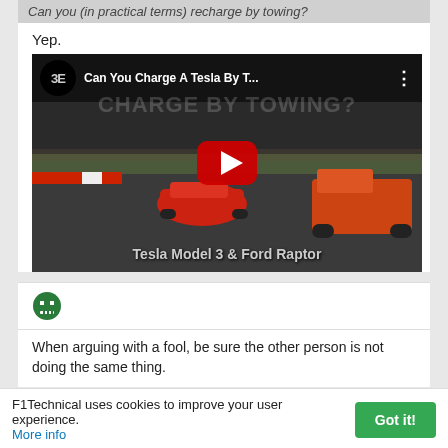Can you (in practical terms) recharge by towing?
Yep.
[Figure (screenshot): YouTube video thumbnail showing 'Can You Charge A Tesla By T...' with a Tesla Model 3 and Ford Raptor on a racetrack. Red play button in center. Text at bottom: Tesla Model 3 & Ford Raptor]
[Figure (photo): Small green pixel-art style user avatar icon]
When arguing with a fool, be sure the other person is not doing the same thing.
F1Technical uses cookies to improve your user experience. More info